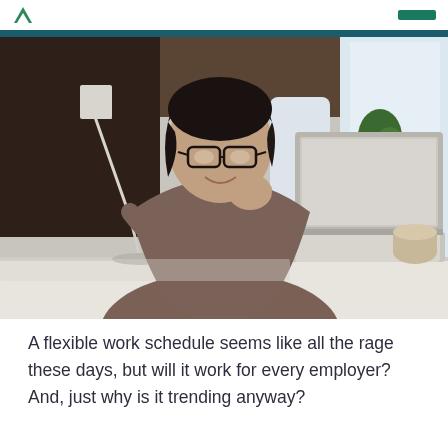[Figure (photo): A woman with dark hair and glasses sitting at a home office desk, smiling while working on a laptop. She is resting her chin on her hand. A lamp, papers, and a coffee mug are visible on the desk. The background shows a living room setting with furniture and plants.]
A flexible work schedule seems like all the rage these days, but will it work for every employer? And, just why is it trending anyway?